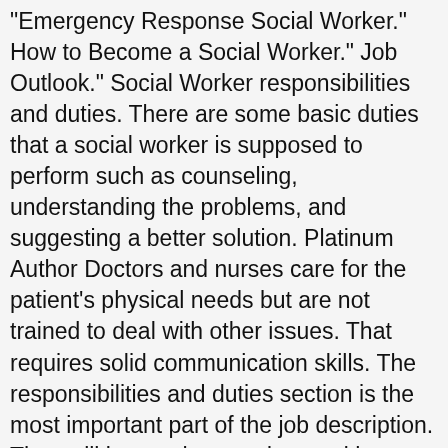Emergency Response Social Worker. How to Become a Social Worker. Job Outlook. Social Worker responsibilities and duties. There are some basic duties that a social worker is supposed to perform such as counseling, understanding the problems, and suggesting a better solution. Platinum Author Doctors and nurses care for the patient's physical needs but are not trained to deal with other issues. That requires solid communication skills. The responsibilities and duties section is the most important part of the job description. They will be taught to understand how to understand problems, realize the need of improvement and changes, and make progress in development of positive changes and ideas, to play their role for serving the individuals of the society. As a social worker, your primary responsibility will be to help your clients solve problems. Those include hospitals, schools, government institutions, private practices, and more. Social work involves working with clients, their families, friends, as well as other organizations such as local authority departments, and other social media and the media. They will